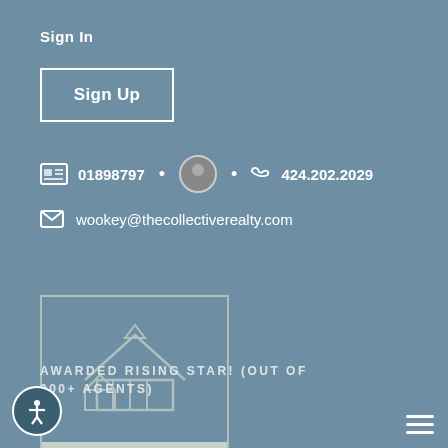Sign In
Sign Up
01898797 • [avatar] • 424.202.2029
wookey@thecollectiverealty.com
[Figure (logo): The Collective Realty logo: house outline icon on blue background, with light text panel below reading 'the collective']
AWARDED RISING STAR! (OUT OF 000+ AGENTS)